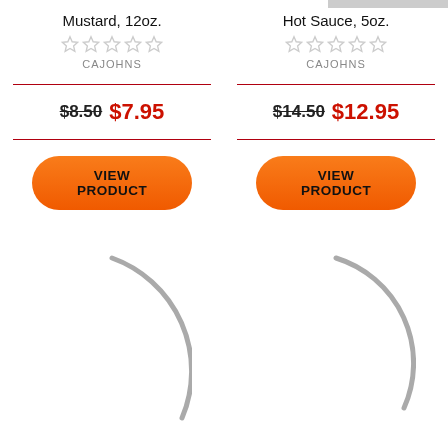Mustard, 12oz.
[Figure (other): 5 empty star rating icons (grey outlines)]
CAJOHNS
$8.50 $7.95
VIEW PRODUCT
Hot Sauce, 5oz.
[Figure (other): 5 empty star rating icons (grey outlines)]
CAJOHNS
$14.50 $12.95
VIEW PRODUCT
[Figure (other): Partial circular arc (loading spinner), grey, bottom left]
[Figure (other): Partial circular arc (loading spinner), grey, bottom right]